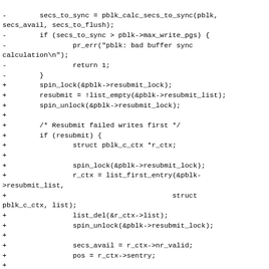[Figure (other): Code diff snippet showing removed lines (prefixed with -) and added lines (prefixed with +) in monospace font, depicting a patch to a kernel/storage driver function involving pblk buffer sync calculation and resubmit logic.]